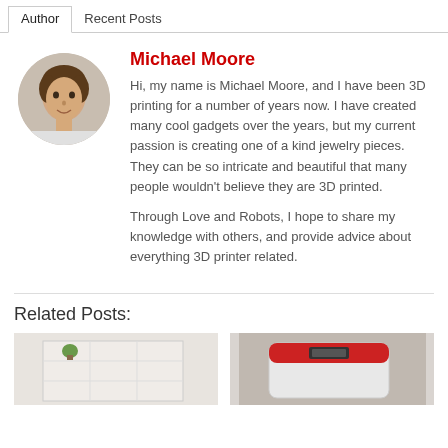Author | Recent Posts
Michael Moore
Hi, my name is Michael Moore, and I have been 3D printing for a number of years now. I have created many cool gadgets over the years, but my current passion is creating one of a kind jewelry pieces. They can be so intricate and beautiful that many people wouldn't believe they are 3D printed.
Through Love and Robots, I hope to share my knowledge with others, and provide advice about everything 3D printer related.
Related Posts:
[Figure (photo): Thumbnail image of a white shelving unit with a small plant]
[Figure (photo): Thumbnail image of a red and white 3D printer]